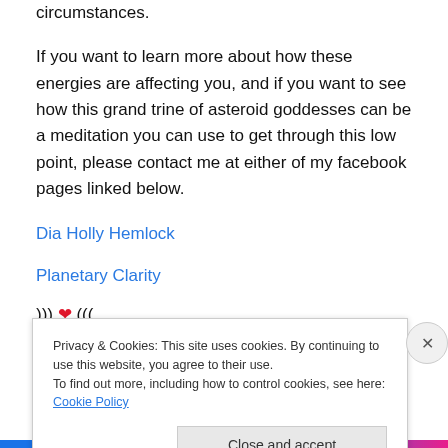circumstances.
If you want to learn more about how these energies are affecting you, and if you want to see how this grand trine of asteroid goddesses can be a meditation you can use to get through this low point, please contact me at either of my facebook pages linked below.
Dia Holly Hemlock
Planetary Clarity
))) ❤ (((
Privacy & Cookies: This site uses cookies. By continuing to use this website, you agree to their use. To find out more, including how to control cookies, see here: Cookie Policy
Close and accept